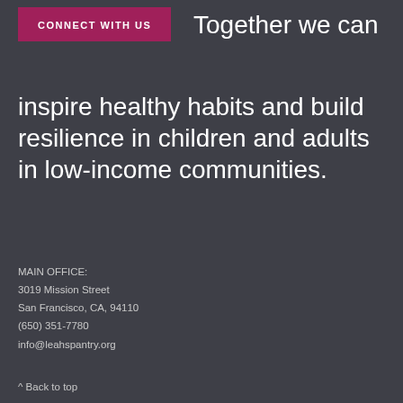CONNECT WITH US
Together we can inspire healthy habits and build resilience in children and adults in low-income communities.
MAIN OFFICE:
3019 Mission Street
San Francisco, CA, 94110
(650) 351-7780
info@leahspantry.org
^ Back to top